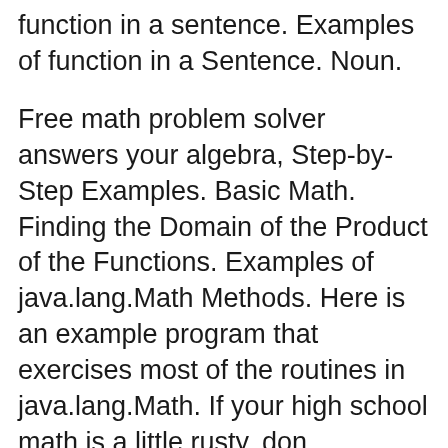function in a sentence. Examples of function in a Sentence. Noun.
Free math problem solver answers your algebra, Step-by-Step Examples. Basic Math. Finding the Domain of the Product of the Functions. Examples of java.lang.Math Methods. Here is an example program that exercises most of the routines in java.lang.Math. If your high school math is a little rusty, don
For example, suppose the function is "double the input value," and the domain is all real, whole numbers. "What Is the Input & Output in Math?" Sciencing, https: 3. Graphs of polynomial functions We have met